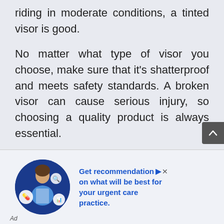riding in moderate conditions, a tinted visor is good.
No matter what type of visor you choose, make sure that it's shatterproof and meets safety standards. A broken visor can cause serious injury, so choosing a quality product is always essential.
When choosing a dirt bike helmet, don't forget to consider the type of visor that it comes with. Select the visor that will offer the best protection for your riding conditions.
[Figure (photo): Advertisement banner with a person (medical professional) in a circular blue background with medical icons, alongside text about getting recommendations for urgent care practice.]
Ad